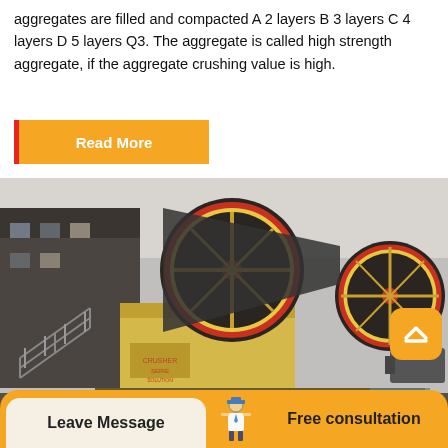aggregates are filled and compacted A 2 layers B 3 layers C 4 layers D 5 layers Q3. The aggregate is called high strength aggregate, if the aggregate crushing value is high.
Read More
[Figure (photo): Industrial jaw crusher machine with large flywheels connected by belt drive, mounted on a concrete base with a building structure in the background.]
[Figure (illustration): Back to top button - orange rounded square with upward chevron icon]
Leave Message
[Figure (illustration): Small icon of a person/consultant figure]
Free consultation